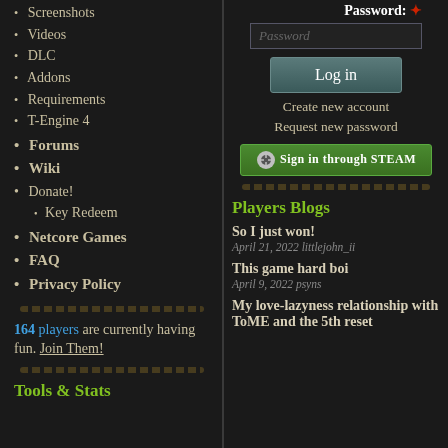Screenshots
Videos
DLC
Addons
Requirements
T-Engine 4
Forums
Wiki
Donate!
Key Redeem
Netcore Games
FAQ
Privacy Policy
164 players are currently having fun. Join Them!
Tools & Stats
Password:
Password (input placeholder)
Log in
Create new account
Request new password
Sign in through STEAM
Players Blogs
So I just won!
April 21, 2022  littlejohn_ii
This game hard boi
April 9, 2022  psyns
My love-lazyness relationship with ToME and the 5th reset